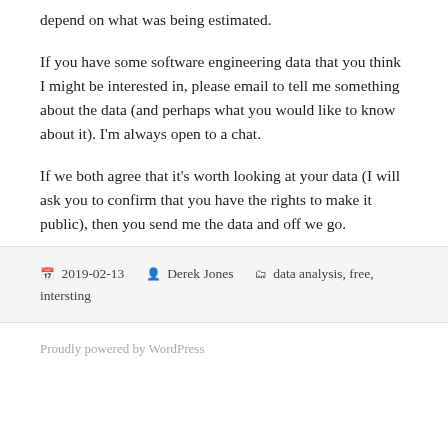depend on what was being estimated.
If you have some software engineering data that you think I might be interested in, please email to tell me something about the data (and perhaps what you would like to know about it). I'm always open to a chat.
If we both agree that it's worth looking at your data (I will ask you to confirm that you have the rights to make it public), then you send me the data and off we go.
2019-02-13  Derek Jones  data analysis, free, intersting
Proudly powered by WordPress